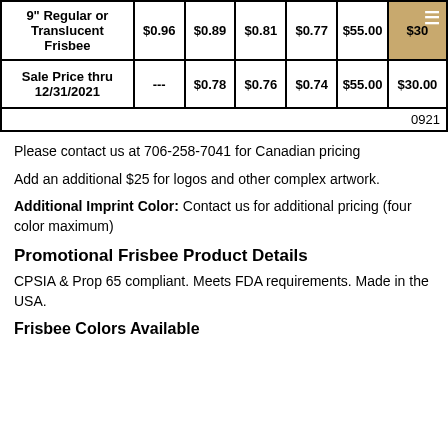| Product | Price1 | Price2 | Price3 | Price4 | Price5 | Price6 |
| --- | --- | --- | --- | --- | --- | --- |
| 9" Regular or Translucent Frisbee | $0.96 | $0.89 | $0.81 | $0.77 | $55.00 | $30 |
| Sale Price thru 12/31/2021 | --- | $0.78 | $0.76 | $0.74 | $55.00 | $30.00 |
|  |  |  |  |  |  | 0921 |
Please contact us at 706-258-7041 for Canadian pricing
Add an additional $25 for logos and other complex artwork.
Additional Imprint Color: Contact us for additional pricing (four color maximum)
Promotional Frisbee Product Details
CPSIA & Prop 65 compliant. Meets FDA requirements. Made in the USA.
Frisbee Colors Available